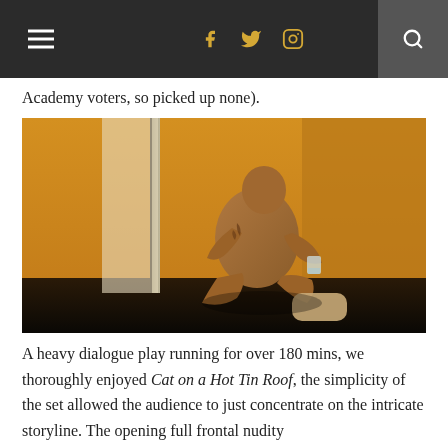Navigation bar with hamburger menu, social icons (Facebook, Twitter, Instagram), and search
Academy voters, so picked up none).
[Figure (photo): A shirtless tattooed man sitting on a dark floor next to a window with golden/yellow walls, holding a glass of liquid, wearing a cast on one leg — a theatrical production photo from Cat on a Hot Tin Roof.]
A heavy dialogue play running for over 180 mins, we thoroughly enjoyed Cat on a Hot Tin Roof, the simplicity of the set allowed the audience to just concentrate on the intricate storyline. The opening full frontal nudity